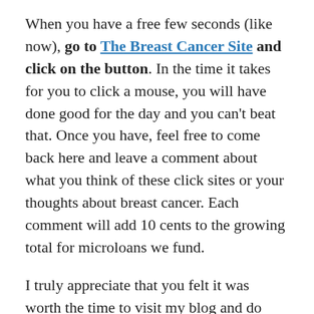When you have a free few seconds (like now), go to The Breast Cancer Site and click on the button. In the time it takes for you to click a mouse, you will have done good for the day and you can't beat that. Once you have, feel free to come back here and leave a comment about what you think of these click sites or your thoughts about breast cancer. Each comment will add 10 cents to the growing total for microloans we fund.
I truly appreciate that you felt it was worth the time to visit my blog and do good today. If you enjoy this blog, please sign up for the rss feed which will add another 25 cents toward a microloan. Also feel free to spread the word and